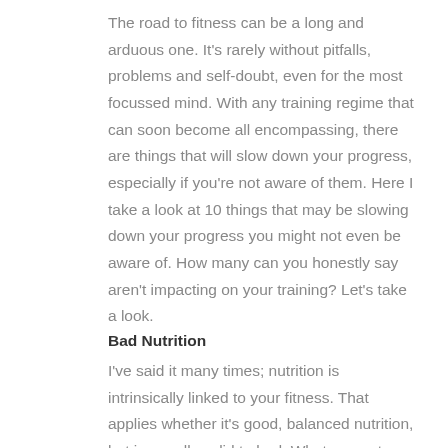The road to fitness can be a long and arduous one. It's rarely without pitfalls, problems and self-doubt, even for the most focussed mind. With any training regime that can soon become all encompassing, there are things that will slow down your progress, especially if you're not aware of them. Here I take a look at 10 things that may be slowing down your progress you might not even be aware of. How many can you honestly say aren't impacting on your training? Let's take a look.
Bad Nutrition
I've said it many times; nutrition is intrinsically linked to your fitness. That applies whether it's good, balanced nutrition, but is equally valid to bad. What you eat must support what you're